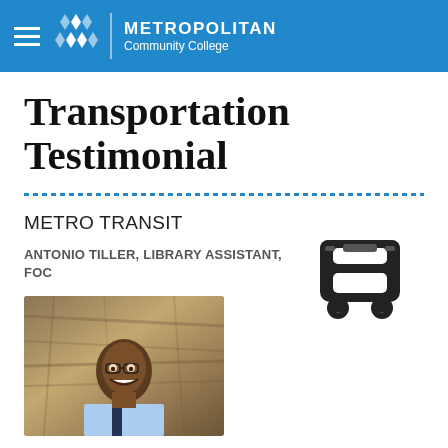METROPOLITAN Community College
Transportation Testimonial
METRO TRANSIT
ANTONIO TILLER, LIBRARY ASSISTANT, FOC
[Figure (photo): Photo of Antonio Tiller smiling, outdoors in front of a tree]
[Figure (illustration): Black bus icon silhouette]